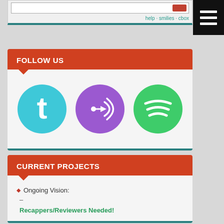[Figure (screenshot): Chat box snippet at top with help, smilies, cbox links in teal]
[Figure (illustration): Black menu button with three white horizontal bars in top right corner]
FOLLOW US
[Figure (illustration): Three social media icons: Twitter (blue circle with 't'), podcast/feed icon (purple circle with signal waves), Spotify (green circle with three curved lines)]
CURRENT PROJECTS
Ongoing Vision:
–
Recappers/Reviewers Needed!